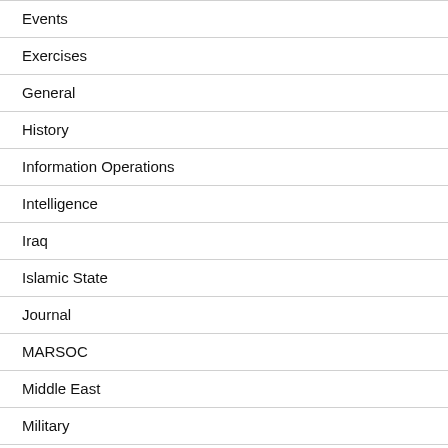Events
Exercises
General
History
Information Operations
Intelligence
Iraq
Islamic State
Journal
MARSOC
Middle East
Military
Movies